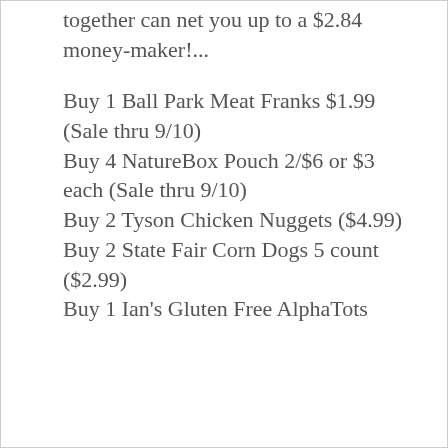together can net you up to a $2.84 money-maker!...
Buy 1 Ball Park Meat Franks $1.99 (Sale thru 9/10)
Buy 4 NatureBox Pouch 2/$6 or $3 each (Sale thru 9/10)
Buy 2 Tyson Chicken Nuggets ($4.99)
Buy 2 State Fair Corn Dogs 5 count ($2.99)
Buy 1 Ian's Gluten Free AlphaTots